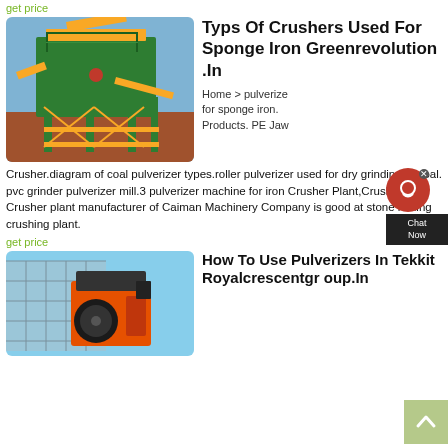get price
[Figure (photo): Industrial crusher/screening plant with green steel frame structure, yellow conveyor belts, on a red dirt construction site with blue sky background.]
Typs Of Crushers Used For Sponge Iron Greenrevolution .In
Home > pulverize for sponge iron. Products. PE Jaw Crusher.diagram of coal pulverizer types.roller pulverizer used for dry grinding of coal. pvc grinder pulverizer mill.3 pulverizer machine for iron Crusher Plant,Crushing Crusher plant manufacturer of Caiman Machinery Company is good at stone mining crushing plant.
get price
[Figure (photo): Large industrial jaw crusher machine mounted on scaffolding structure, orange and black, under a blue sky, construction site.]
How To Use Pulverizers In Tekkit Royalcrescentgroup.In